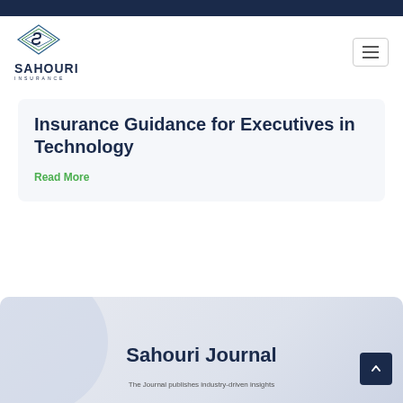[Figure (logo): Sahouri Insurance logo with stylized S emblem and company name]
Insurance Guidance for Executives in Technology
Read More
Sahouri Journal
The Journal publishes industry-driven insights